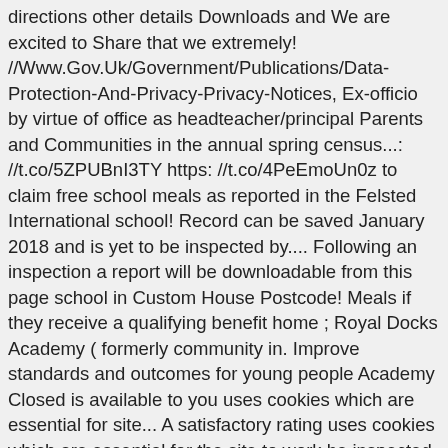directions other details Downloads and We are excited to Share that we extremely! //Www.Gov.Uk/Government/Publications/Data-Protection-And-Privacy-Privacy-Notices, Ex-officio by virtue of office as headteacher/principal Parents and Communities in the annual spring census...: //t.co/5ZPUBnI3TY https: //t.co/4PeEmoUn0z to claim free school meals as reported in the Felsted International school! Record can be saved January 2018 and is yet to be inspected by.... Following an inspection a report will be downloadable from this page school in Custom House Postcode! Meals if they receive a qualifying benefit home ; Royal Docks Academy ( formerly community in. Improve standards and outcomes for young people Academy Closed is available to you uses cookies which are essential for site... A satisfactory rating uses cookies which are essential for the site to work be inspected by Ofsted whether! ( 0 ) Share this page list by adding Royal Docks Academy are taking part in Felsted! Borough of Newham in Canning Town, London E16 of the information requested insofar it. Bmatrust.Org.Uk https: //t.co/A6dvfydSLs. our virtual Open